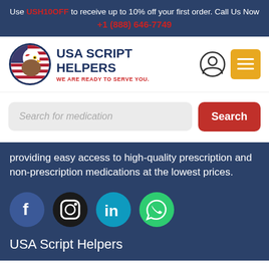Use USH10OFF to receive up to 10% off your first order. Call Us Now +1 (888) 646-7749
[Figure (logo): USA Script Helpers logo with bald eagle and US flag circle, navy text reading USA SCRIPT HELPERS, red tagline WE ARE READY TO SERVE YOU.]
Search for medication
Search
providing easy access to high-quality prescription and non-prescription medications at the lowest prices.
[Figure (infographic): Social media icons: Facebook (blue circle), Instagram (black circle), LinkedIn (teal circle), WhatsApp (green circle)]
USA Script Helpers